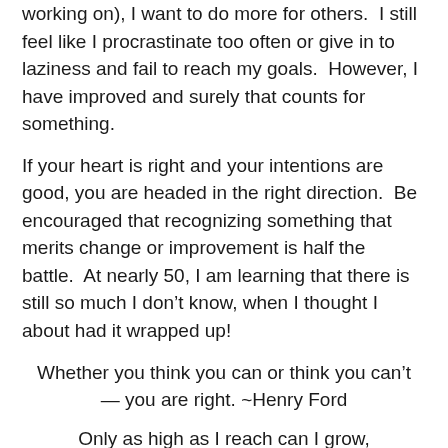working on), I want to do more for others. I still feel like I procrastinate too often or give in to laziness and fail to reach my goals. However, I have improved and surely that counts for something.
If your heart is right and your intentions are good, you are headed in the right direction. Be encouraged that recognizing something that merits change or improvement is half the battle. At nearly 50, I am learning that there is still so much I don’t know, when I thought I about had it wrapped up!
Whether you think you can or think you can’t — you are right. ~Henry Ford
Only as high as I reach can I grow,
Only as far as I seek can I go,
Only as deep as I look can I see,